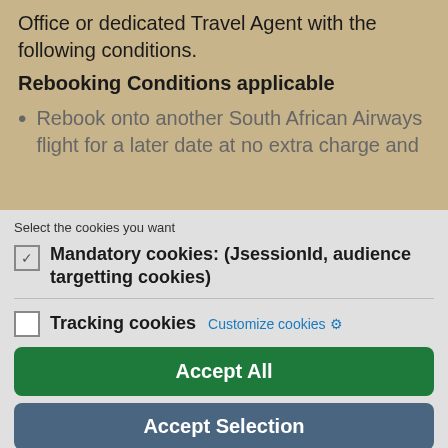Office or dedicated Travel Agent with the following conditions.
Rebooking Conditions applicable
Rebook onto another South African Airways flight for a later date at no extra charge and
Select the cookies you want
Mandatory cookies: (JsessionId, audience targetting cookies)
Tracking cookies  Customize cookies
Accept All
Accept Selection
Only Mandatory